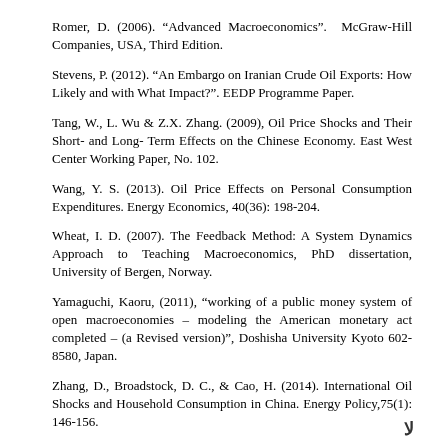Romer, D. (2006). “Advanced Macroeconomics”.  McGraw-Hill Companies, USA, Third Edition.
Stevens, P. (2012). “An Embargo on Iranian Crude Oil Exports: How Likely and with What Impact?”. EEDP Programme Paper.
Tang, W., L. Wu & Z.X. Zhang. (2009), Oil Price Shocks and Their Short- and Long- Term Effects on the Chinese Economy. East West Center Working Paper, No. 102.
Wang, Y. S. (2013). Oil Price Effects on Personal Consumption Expenditures. Energy Economics, 40(36): 198-204.
Wheat, I. D. (2007). The Feedback Method: A System Dynamics Approach to Teaching Macroeconomics, PhD dissertation, University of Bergen, Norway.
Yamaguchi, Kaoru, (2011), “working of a public money system of open macroeconomies – modeling the American monetary act completed – (a Revised version)”, Doshisha University Kyoto 602-8580, Japan.
Zhang, D., Broadstock, D. C., & Cao, H. (2014). International Oil Shocks and Household Consumption in China. Energy Policy,75(1): 146-156.
لا